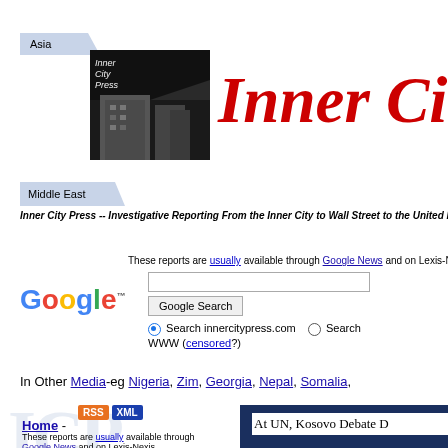[Figure (logo): Asia navigation tab with light blue background]
[Figure (photo): Inner City Press logo - black and white photo of building with 'Inner City Press' text overlay]
Inner City
[Figure (other): Middle East navigation tab with light blue background]
Inner City Press -- Investigative Reporting From the Inner City to Wall Street to the United Nations
These reports are usually available through Google News and on Lexis-Nexis
[Figure (other): Google search widget with search box, Google Search button, radio buttons for innercitypress.com and WWW search]
In Other Media-eg Nigeria, Zim, Georgia, Nepal, Somalia,
[Figure (other): RSS and XML feed buttons]
Home -
These reports are usually available through Google News and on Lexis-Nexis
At UN, Kosovo Debate D